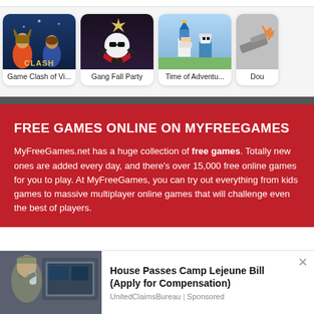[Figure (screenshot): Game cards row showing: Game Clash of Vi..., Gang Fall Party, Time of Adventu..., Dou... (partially visible)]
Game Clash of Vi...
Gang Fall Party
Time of Adventu...
Dou
FREE GAMES ONLINE ON MYFREEGAMES
MyFreeGames.net has a huge collection of free games. Totally new ones are added every day, and there's over 15,000 free online games for you to play. At MyFreeGames, you can try out everything from kids games to massive multiplayer online games that will challenge even the best of players.
[Figure (photo): Advertisement photo: person in military uniform drinking water near computer equipment]
House Passes Camp Lejeune Bill (Apply for Compensation)
UnitedClaimsBureau | Sponsored